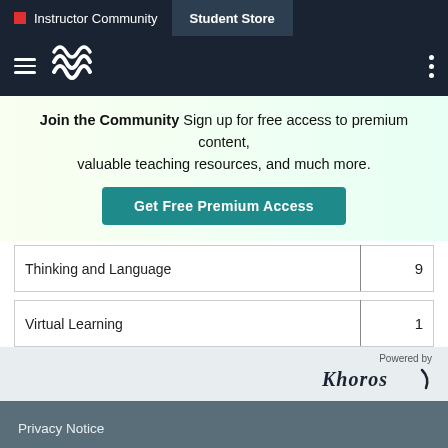Instructor Community | Student Store
[Figure (logo): Macmillan Learning wave logo with hamburger menu and three-dot menu icon on dark navy header bar]
Join the Community  Sign up for free access to premium content, valuable teaching resources, and much more.
Get Free Premium Access
| Category | Count |
| --- | --- |
| Thinking and Language | 9 |
| Virtual Learning | 1 |
[Figure (logo): Powered by Khoros logo]
Privacy Notice
Ads & Cookies
Terms of Use